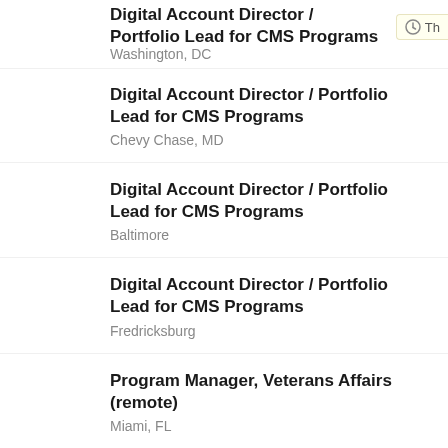Digital Account Director / Portfolio Lead for CMS Programs
Washington, DC
Digital Account Director / Portfolio Lead for CMS Programs
Chevy Chase, MD
Digital Account Director / Portfolio Lead for CMS Programs
Baltimore
Digital Account Director / Portfolio Lead for CMS Programs
Fredricksburg
Program Manager, Veterans Affairs (remote)
Miami, FL
Program Manager, Veterans Affairs